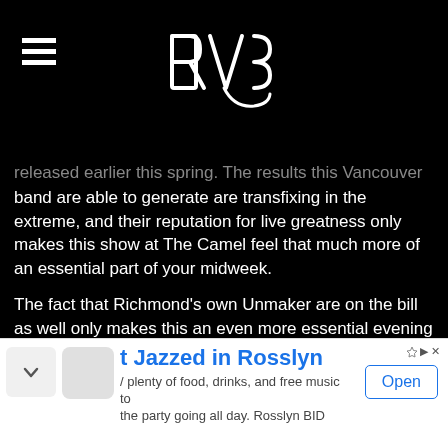RVS logo and navigation header
released earlier this spring. The results this Vancouver band are able to generate are transfixing in the extreme, and their reputation for live greatness only makes this show at The Camel feel that much more of an essential part of your midweek.
The fact that Richmond's own Unmaker are on the bill as well only makes this an even more essential evening of sounds. This group shows off their more intense version of goth-metal awesomeness on debut full-length Firmament, an album that's turned a lot of heads locally and nationally since its release six months ago. Mixing this powerful blend
[Figure (other): Advertisement banner: t Jazzed in Rosslyn with Open button]